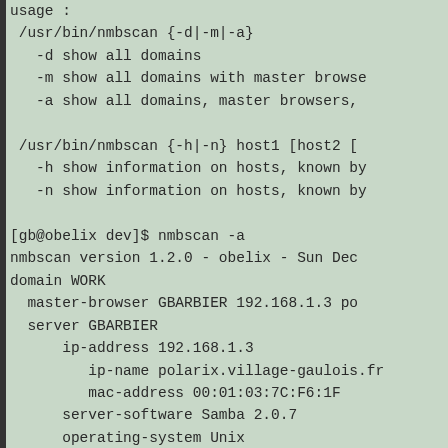usage :
 /usr/bin/nmbscan {-d|-m|-a}
   -d show all domains
   -m show all domains with master browse
   -a show all domains, master browsers,

 /usr/bin/nmbscan {-h|-n} host1 [host2 [
   -h show information on hosts, known by
   -n show information on hosts, known by

[gb@obelix dev]$ nmbscan -a
nmbscan version 1.2.0 - obelix - Sun Dec
domain WORK
  master-browser GBARBIER 192.168.1.3 po
  server GBARBIER
      ip-address 192.168.1.3
         ip-name polarix.village-gaulois.fr
         mac-address 00:01:03:7C:F6:1F
      server-software Samba 2.0.7
      operating-system Unix
  domain VILLAGE-GAULOIS
  master-browser IDEFIX 192.168.1.2 idef
  server GBARBIER
      ip-address 192.168.1.3
         ip-name polarix.village-gaulois.fr